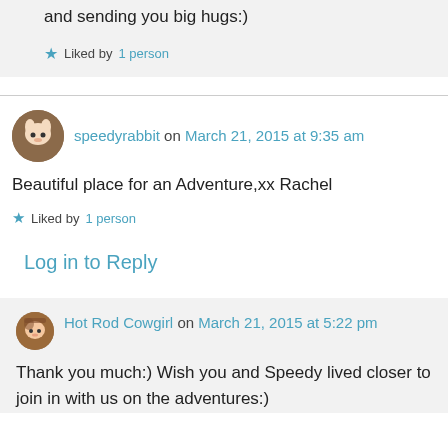and sending you big hugs:)
★ Liked by 1 person
speedyrabbit on March 21, 2015 at 9:35 am
Beautiful place for an Adventure,xx Rachel
★ Liked by 1 person
Log in to Reply
Hot Rod Cowgirl on March 21, 2015 at 5:22 pm
Thank you much:) Wish you and Speedy lived closer to join in with us on the adventures:)